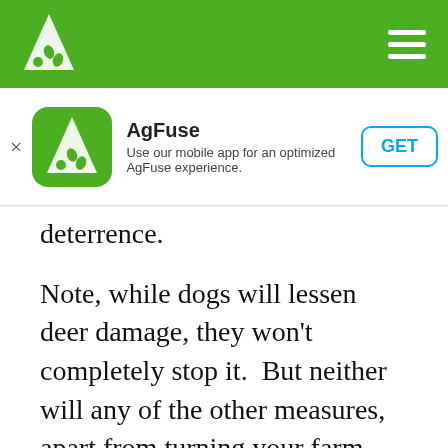AgFuse navigation bar
[Figure (screenshot): AgFuse app install banner with green icon, app name, description, and GET button]
deterrence.
Note, while dogs will lessen deer damage, they won't completely stop it.  But neither will any of the other measures, apart from turning your farm into Fort Knox.  Also note, dogs destined for deer patrol may need additional encouragement and training.   If you think keeping a dog leashed or in some kind of run will help, studies show it won't. Deer are too smart for that.